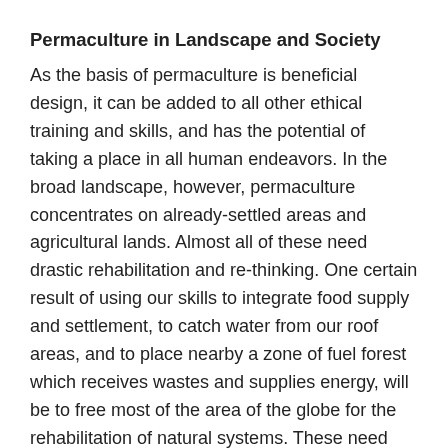Permaculture in Landscape and Society
As the basis of permaculture is beneficial design, it can be added to all other ethical training and skills, and has the potential of taking a place in all human endeavors. In the broad landscape, however, permaculture concentrates on already-settled areas and agricultural lands. Almost all of these need drastic rehabilitation and re-thinking. One certain result of using our skills to integrate food supply and settlement, to catch water from our roof areas, and to place nearby a zone of fuel forest which receives wastes and supplies energy, will be to free most of the area of the globe for the rehabilitation of natural systems. These need never be looked upon as "of use to people", except in the very broad sense of global health.
The real difference between a cultivated (designed)